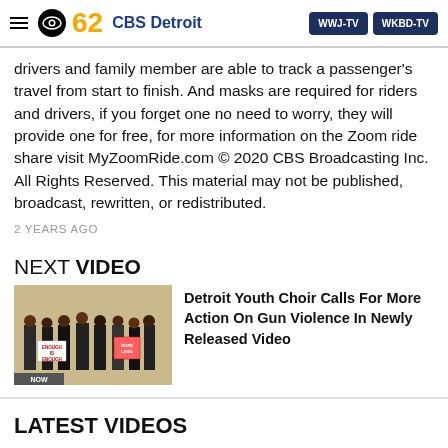CBS 62 CBS Detroit | WWJ-TV | WKBD-TV
drivers and family member are able to track a passenger's travel from start to finish. And masks are required for riders and drivers, if you forget one no need to worry, they will provide one for free, for more information on the Zoom ride share visit MyZoomRide.com © 2020 CBS Broadcasting Inc. All Rights Reserved. This material may not be published, broadcast, rewritten, or redistributed.
2 YEARS AGO
NEXT VIDEO
[Figure (photo): Video thumbnail showing Detroit Youth Choir members holding signs reading 'Enough is Enough']
Detroit Youth Choir Calls For More Action On Gun Violence In Newly Released Video
LATEST VIDEOS